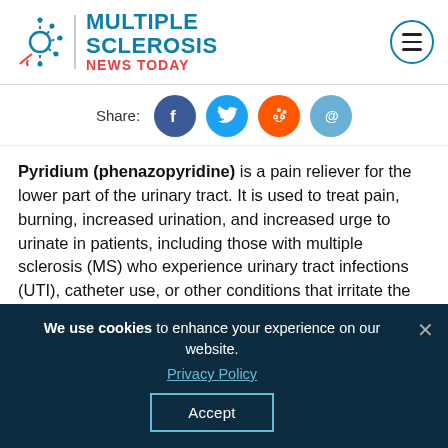Multiple Sclerosis News Today
Share:
Pyridium (phenazopyridine) is a pain reliever for the lower part of the urinary tract. It is used to treat pain, burning, increased urination, and increased urge to urinate in patients, including those with multiple sclerosis (MS) who experience urinary tract infections (UTI), catheter use, or other conditions that irritate the lower urinary tract.
Though prescribed for people with UTIs, Pyridium
We use cookies to enhance your experience on our website. Privacy Policy Accept